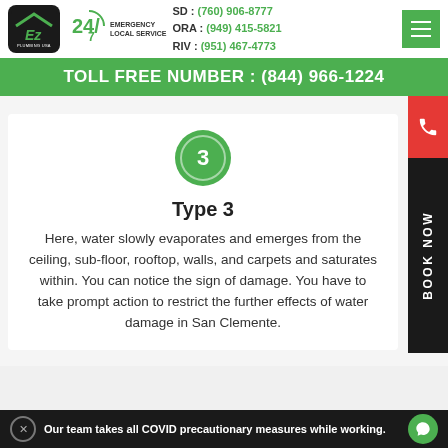EZ Plumbing USA — SD: (760) 906-8777 | ORA: (949) 415-5821 | RIV: (951) 467-4773 | 24/7 Emergency Local Service
TOLL FREE NUMBER : (844) 966-1224
[Figure (infographic): Green circle with number 3 inside]
Type 3
Here, water slowly evaporates and emerges from the ceiling, sub-floor, rooftop, walls, and carpets and saturates within. You can notice the sign of damage. You have to take prompt action to restrict the further effects of water damage in San Clemente.
Our team takes all COVID precautionary measures while working.